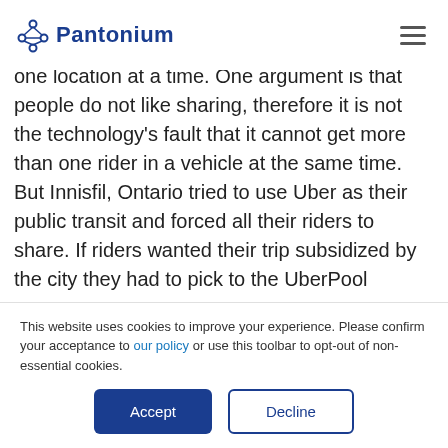Pantonium
one location at a time. One argument is that people do not like sharing, therefore it is not the technology's fault that it cannot get more than one rider in a vehicle at the same time. But Innisfil, Ontario tried to use Uber as their public transit and forced all their riders to share. If riders wanted their trip subsidized by the city they had to pick to the UberPool
This website uses cookies to improve your experience. Please confirm your acceptance to our policy or use this toolbar to opt-out of non-essential cookies.